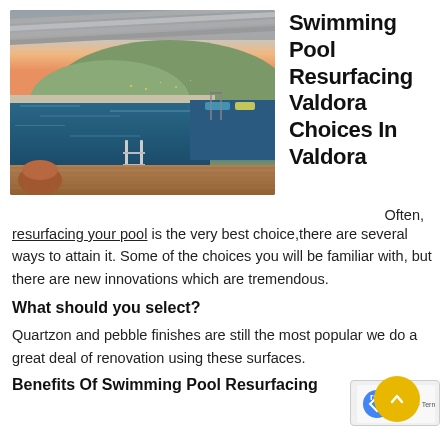[Figure (photo): Infinity swimming pool with wood deck overlooking a hillside city at sunset with orange and blue sky]
Swimming Pool Resurfacing Valdora Choices In Valdora
Often, resurfacing your pool is the very best choice,there are several ways to attain it. Some of the choices you will be familiar with, but there are new innovations which are tremendous.
What should you select?
Quartzon and pebble finishes are still the most popular we do a great deal of renovation using these surfaces.
Benefits Of Swimming Pool Resurfacing